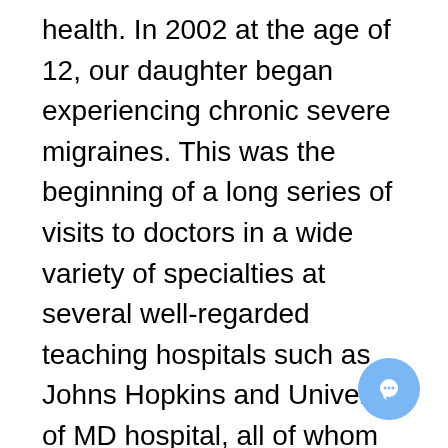health. In 2002 at the age of 12, our daughter began experiencing chronic severe migraines. This was the beginning of a long series of visits to doctors in a wide variety of specialties at several well-regarded teaching hospitals such as Johns Hopkins and University of MD hospital, all of whom agreed that our daughter was very sick, and thought they could help her, and all eventually referred us on to yet another specialty. As time passed she began experiencing problems with more and more organ systems,